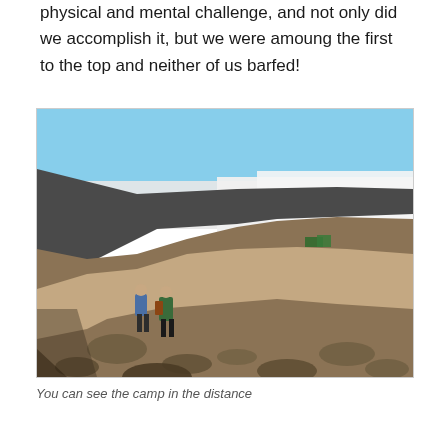physical and mental challenge, and not only did we accomplish it, but we were amoung the first to the top and neither of us barfed!
[Figure (photo): Hikers on a rocky mountain trail high above the clouds. The landscape shows a volcanic mountain slope with loose rocks and dirt. In the distance a camp with green tents is visible. Above is a clear blue sky with a layer of clouds below the mountain ridge.]
You can see the camp in the distance